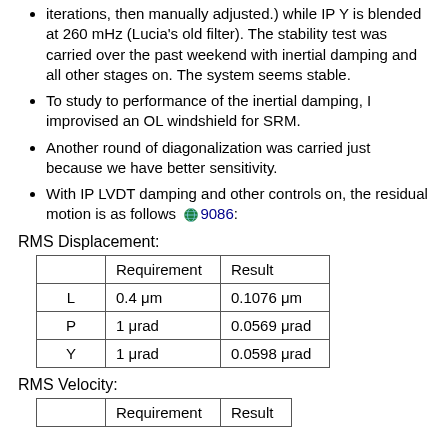iterations, then manually adjusted.) while IP Y is blended at 260 mHz (Lucia's old filter). The stability test was carried over the past weekend with inertial damping and all other stages on. The system seems stable.
To study to performance of the inertial damping, I improvised an OL windshield for SRM.
Another round of diagonalization was carried just because we have better sensitivity.
With IP LVDT damping and other controls on, the residual motion is as follows 🌐9086:
RMS Displacement:
|  | Requirement | Result |
| --- | --- | --- |
| L | 0.4 μm | 0.1076 μm |
| P | 1 μrad | 0.0569 μrad |
| Y | 1 μrad | 0.0598 μrad |
RMS Velocity:
|  | Requirement | Result |
| --- | --- | --- |